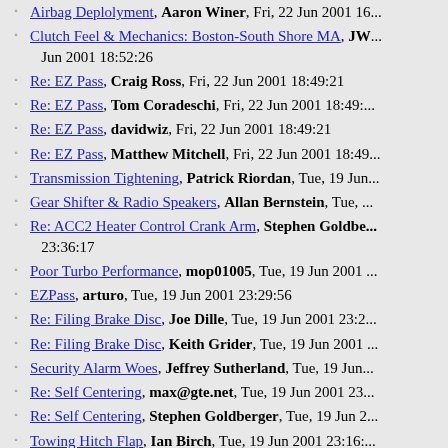Airbag Deplolyment, Aaron Winer, Fri, 22 Jun 2001 16:...
Clutch Feel & Mechanics: Boston-South Shore MA, JW... Jun 2001 18:52:26
Re: EZ Pass, Craig Ross, Fri, 22 Jun 2001 18:49:21
Re: EZ Pass, Tom Coradeschi, Fri, 22 Jun 2001 18:49:...
Re: EZ Pass, davidwiz, Fri, 22 Jun 2001 18:49:21
Re: EZ Pass, Matthew Mitchell, Fri, 22 Jun 2001 18:49...
Transmission Tightening, Patrick Riordan, Tue, 19 Jun...
Gear Shifter & Radio Speakers, Allan Bernstein, Tue, ...
Re: ACC2 Heater Control Crank Arm, Stephen Goldberger... 23:36:17
Poor Turbo Performance, mop01005, Tue, 19 Jun 2001 ...
EZPass, arturo, Tue, 19 Jun 2001 23:29:56
Re: Filing Brake Disc, Joe Dille, Tue, 19 Jun 2001 23:2...
Re: Filing Brake Disc, Keith Grider, Tue, 19 Jun 2001 ...
Security Alarm Woes, Jeffrey Sutherland, Tue, 19 Jun...
Re: Self Centering, max@gte.net, Tue, 19 Jun 2001 23...
Re: Self Centering, Stephen Goldberger, Tue, 19 Jun 2...
Towing Hitch Flap, Ian Birch, Tue, 19 Jun 2001 23:16:...
Re: Lens, Jalalt, Wed, 13 Jun 2001 17:15:12
Re: Clutch Bleeding Procedure, Kevin Phillips, Wed, 1...
ACC2 Heater Control Crank Arm, 94aero, Wed, 13 Jun...
Filing Brake Disc, tasha, Wed, 13 Jun 2001 17:06:39
Rally in the Hills, ORZANOD, Wed, 13 Jun 2001 17:0...
Re: Door Latches, markus.jaervi, Wed, 13 Jun 2001 16...
... more items cut off